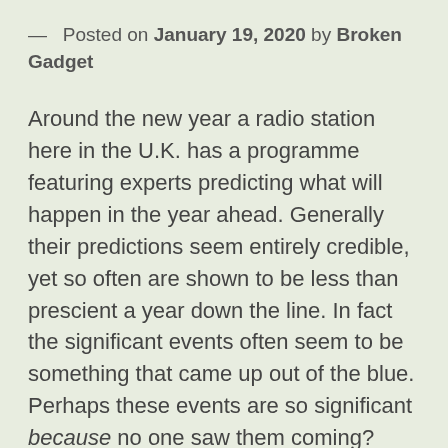— Posted on January 19, 2020 by Broken Gadget
Around the new year a radio station here in the U.K. has a programme featuring experts predicting what will happen in the year ahead. Generally their predictions seem entirely credible, yet so often are shown to be less than prescient a year down the line. In fact the significant events often seem to be something that came up out of the blue. Perhaps these events are so significant because no one saw them coming?
So prediction – a mug's game played by fools and quacks.